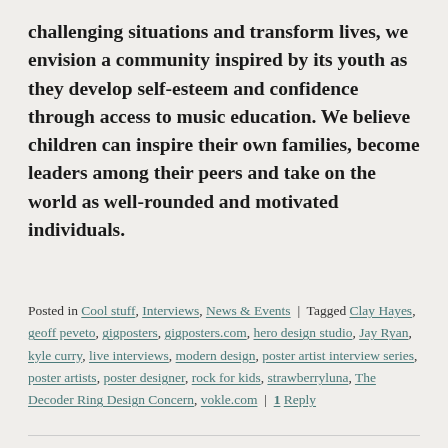challenging situations and transform lives, we envision a community inspired by its youth as they develop self-esteem and confidence through access to music education. We believe children can inspire their own families, become leaders among their peers and take on the world as well-rounded and motivated individuals.
Posted in Cool stuff, Interviews, News & Events | Tagged Clay Hayes, geoff peveto, gigposters, gigposters.com, hero design studio, Jay Ryan, kyle curry, live interviews, modern design, poster artist interview series, poster artists, poster designer, rock for kids, strawberryluna, The Decoder Ring Design Concern, vokle.com | 1 Reply